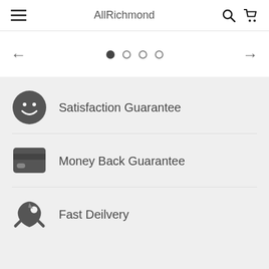AllRichmond
[Figure (screenshot): Slider navigation with left arrow, 4 pagination dots (first filled), and right arrow]
Satisfaction Guarantee
Money Back Guarantee
Fast Deilvery